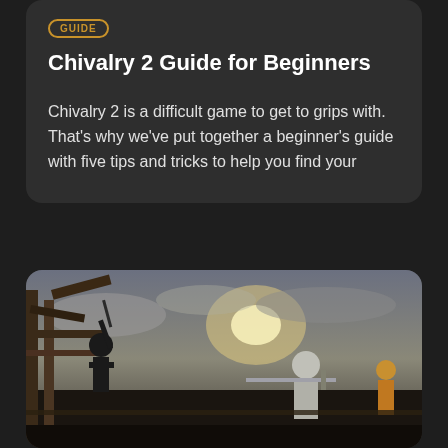Chivalry 2 Guide for Beginners
Chivalry 2 is a difficult game to get to grips with. That’s why we’ve put together a beginner’s guide with five tips and tricks to help you find your
[Figure (photo): Screenshot from Chivalry 2 showing medieval knights in combat, with one knight raising a weapon overhead on a wooden structure, another holding a crossbow, set against a dramatic cloudy sky with sunlight.]